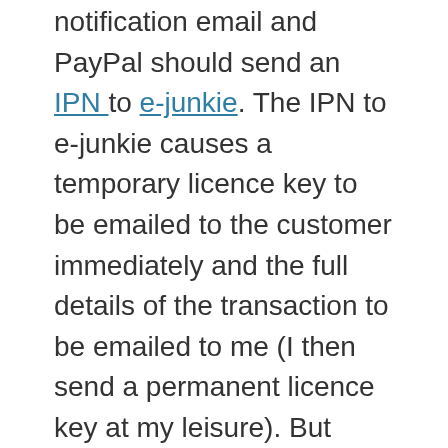notification email and PayPal should send an IPN to e-junkie. The IPN to e-junkie causes a temporary licence key to be emailed to the customer immediately and the full details of the transaction to be emailed to me (I then send a permanent licence key at my leisure). But sometimes the IPN is sent 30+ minutes after purchase. The leads to very unhappy customers. They have paid for their licence and they want the key. Now. Other times the PayPal notification email never arrives. This is less of a problem, but it doesn't inspire confidence.

It is not just me having these problems. I have